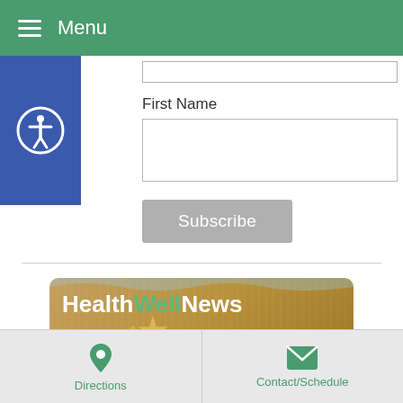Menu
First Name
[Figure (screenshot): Blue accessibility icon button with person-in-circle symbol on left side]
Subscribe
[Figure (logo): HealthWellNews Summer banner with sandy beach background and starfish decoration]
Latest Articles:
Cultivating Defensive Qi to Fight Summer Allergies •
3 Tips for Healthy Summer Fun •
Directions | Contact/Schedule